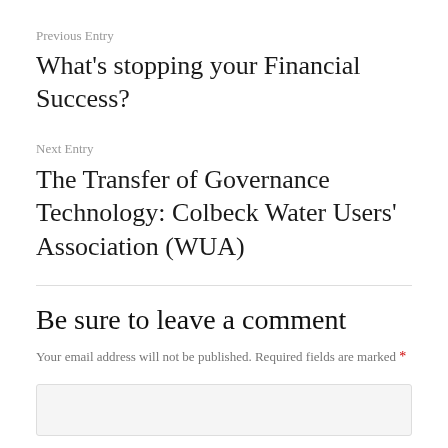Previous Entry
What’s stopping your Financial Success?
Next Entry
The Transfer of Governance Technology: Colbeck Water Users’ Association (WUA)
Be sure to leave a comment
Your email address will not be published. Required fields are marked *